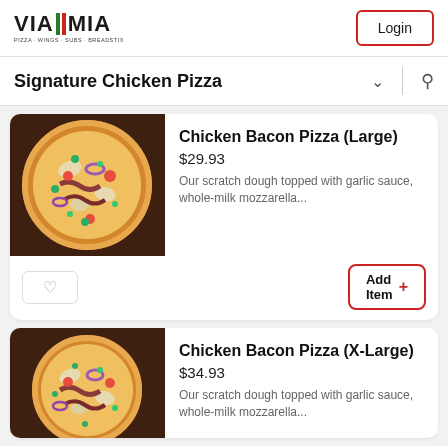VIA MIA - PIZZA · WINGS · SUBS · BREADSTIX | Login
Signature Chicken Pizza
[Figure (photo): Photo of Chicken Bacon Pizza with colorful toppings on a dark wooden surface]
Chicken Bacon Pizza (Large)
$29.93
Our scratch dough topped with garlic sauce, whole-milk mozzarella...
[Figure (photo): Photo of Chicken Bacon Pizza X-Large with colorful toppings on a dark wooden surface]
Chicken Bacon Pizza (X-Large)
$34.93
Our scratch dough topped with garlic sauce, whole-milk mozzarella...